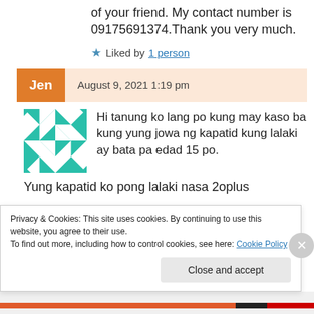of your friend. My contact number is 09175691374.Thank you very much.
★ Liked by 1 person
Jen  August 9, 2021 1:19 pm
[Figure (illustration): Teal geometric quilt-pattern avatar icon]
Hi tanung ko lang po kung may kaso ba kung yung jowa ng kapatid kung lalaki ay bata pa edad 15 po.
Yung kapatid ko pong lalaki nasa 2oplus
Privacy & Cookies: This site uses cookies. By continuing to use this website, you agree to their use.
To find out more, including how to control cookies, see here: Cookie Policy
Close and accept